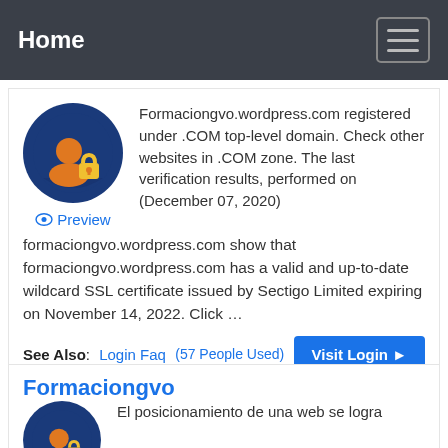Home
[Figure (screenshot): Website card with circular lock icon and preview link. Text: Formaciongvo.wordpress.com registered under .COM top-level domain. Check other websites in .COM zone. The last verification results, performed on (December 07, 2020) formaciongvo.wordpress.com show that formaciongvo.wordpress.com has a valid and up-to-date wildcard SSL certificate issued by Sectigo Limited expiring on November 14, 2022. Click ...]
See Also: Login Faq  (57 People Used)  Visit Login
Formaciongvo
El posicionamiento de una web se logra